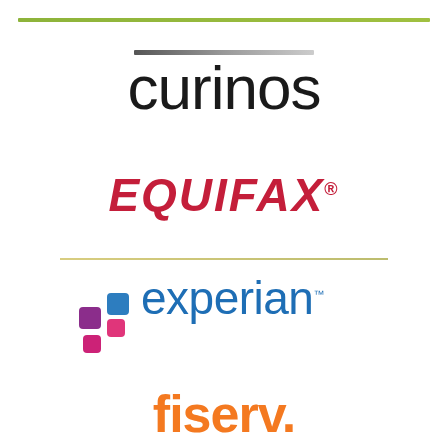[Figure (logo): Curinos company logo - lowercase text with gradient bar above]
[Figure (logo): Equifax logo - bold italic red text with registered trademark symbol]
[Figure (logo): Experian logo - blue lowercase text with colored dot squares]
[Figure (logo): Fiserv logo - orange bold text with period, partially visible]